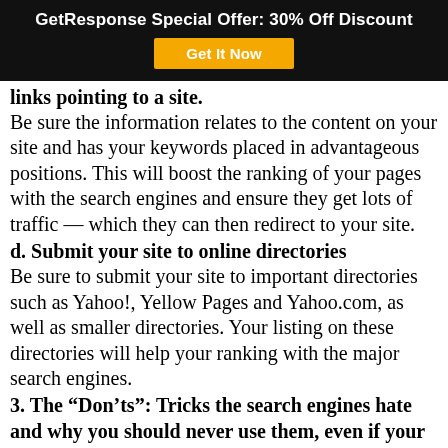GetResponse Special Offer: 30% Off Discount
[Figure (other): GetResponse Special Offer banner with 'Get It Now' button in orange]
links pointing to a site.
Be sure the information relates to the content on your site and has your keywords placed in advantageous positions. This will boost the ranking of your pages with the search engines and ensure they get lots of traffic — which they can then redirect to your site.
d. Submit your site to online directories
Be sure to submit your site to important directories such as Yahoo!, Yellow Pages and Yahoo.com, as well as smaller directories. Your listing on these directories will help your ranking with the major search engines.
3. The “Don’ts”: Tricks the search engines hate and why you should never use them, even if your competition does
Now that we’ve covered the “dos,” here come the “don’ts.” Although these questionable tactics have worked well in the past, the search engines absolutely hate them. If they catch you using any of these tricks, they may go so